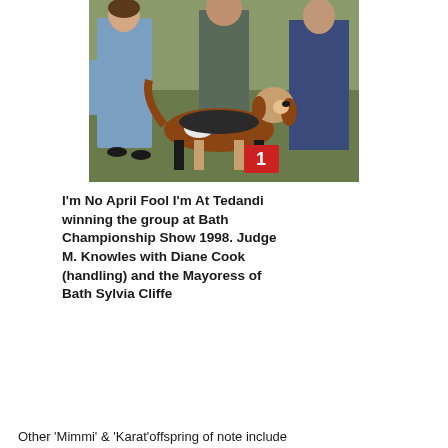[Figure (photo): Photograph of a dog (hound breed, tricolor) standing at a dog show, with three people behind it. There is a red number 1 marker visible. The setting is outdoors on grass.]
I'm No April Fool I'm At Tedandi winning the group at Bath Championship Show 1998. Judge M. Knowles with Diane Cook (handling) and the Mayoress of Bath Sylvia Cliffe
Other 'Mimmi' & 'Karat'offspring of note include